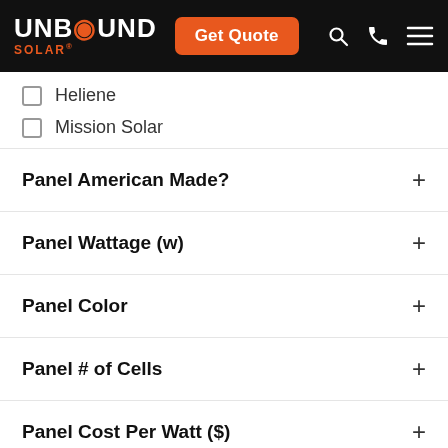UNBOUND SOLAR® — Get Quote
Heliene
Mission Solar
Panel American Made?
Panel Wattage (w)
Panel Color
Panel # of Cells
Panel Cost Per Watt ($)
Shipping Flat Rate
Showing all 5 results
Sort by latest